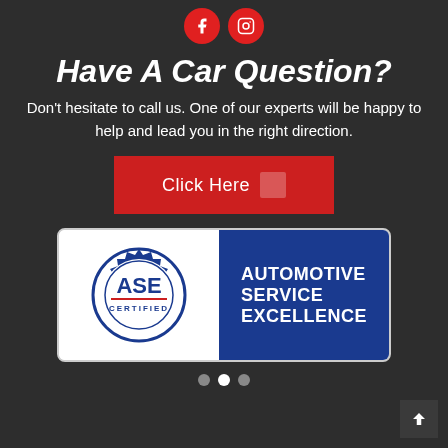[Figure (logo): Red circular Facebook and Instagram social media icons]
Have A Car Question?
Don't hesitate to call us. One of our experts will be happy to help and lead you in the right direction.
[Figure (other): Red button with text 'Click Here' and an arrow icon]
[Figure (logo): ASE Certified - Automotive Service Excellence logo badge with blue and white design]
[Figure (other): Carousel navigation dots — three dots, middle one active (white)]